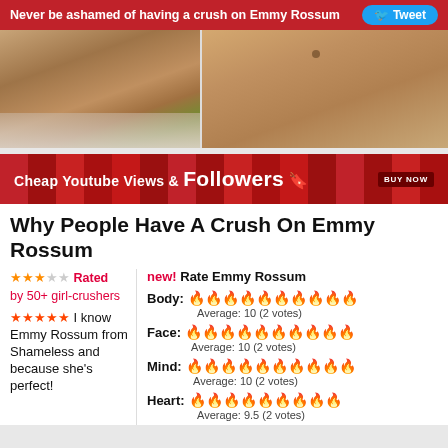Never be ashamed of having a crush on Emmy Rossum   Tweet
[Figure (photo): Two cropped photos showing midriff/torso areas side by side]
[Figure (photo): Ad banner: Cheap Youtube Views & Followers - BUY NOW]
Why People Have A Crush On Emmy Rossum
Rated by 50+ girl-crushers
I know Emmy Rossum from Shameless and because she's perfect!
new! Rate Emmy Rossum
Body: 🔥🔥🔥🔥🔥🔥🔥🔥🔥🔥 Average: 10 (2 votes)
Face: 🔥🔥🔥🔥🔥🔥🔥🔥🔥🔥 Average: 10 (2 votes)
Mind: 🔥🔥🔥🔥🔥🔥🔥🔥🔥🔥 Average: 10 (2 votes)
Heart: 🔥🔥🔥🔥🔥🔥🔥🔥🔥 Average: 9.5 (2 votes)